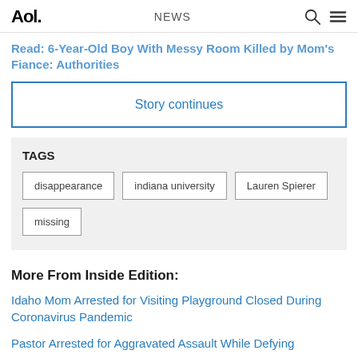Aol. NEWS
Read: 6-Year-Old Boy With Messy Room Killed by Mom's Fiance: Authorities
Story continues
TAGS
disappearance
indiana university
Lauren Spierer
missing
More From Inside Edition:
Idaho Mom Arrested for Visiting Playground Closed During Coronavirus Pandemic
Pastor Arrested for Aggravated Assault While Defying